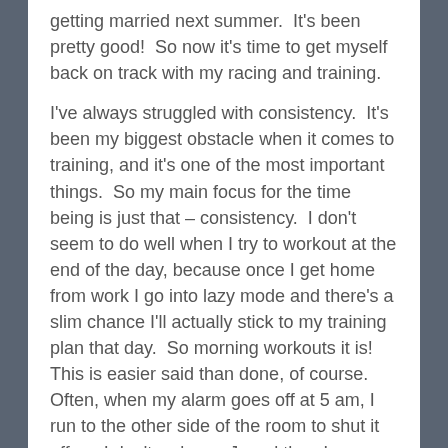getting married next summer.  It's been pretty good!  So now it's time to get myself back on track with my racing and training.
I've always struggled with consistency.  It's been my biggest obstacle when it comes to training, and it's one of the most important things.  So my main focus for the time being is just that – consistency.  I don't seem to do well when I try to workout at the end of the day, because once I get home from work I go into lazy mode and there's a slim chance I'll actually stick to my training plan that day.  So morning workouts it is!  This is easier said than done, of course.  Often, when my alarm goes off at 5 am, I run to the other side of the room to shut it off, so I don't wake up J, and then I immediately turn around and get back in bed.  IT'S JUST SO WARM AND COZY!  But once I get just ONE morning workout under my belt, it gets easier.  I feel so much more